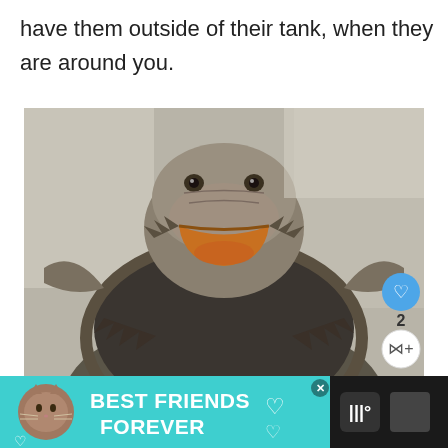have them outside of their tank, when they are around you.
[Figure (photo): Close-up photo of a bearded dragon lizard with its mouth open wide, appearing to smile, with spiky beard extended, on a light textured surface. UI overlay shows heart icon, number 2, share button, and a 'What's Next' panel showing 'What Do You Feed a...']
[Figure (infographic): Advertisement banner with teal background showing a cat cartoon, text reading 'BEST FRIENDS FOREVER' in bold white letters, heart decorations, close button, and dark right section with app/brand logo]